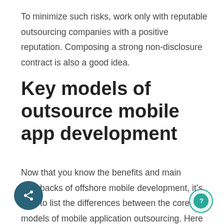To minimize such risks, work only with reputable outsourcing companies with a positive reputation. Composing a strong non-disclosure contract is also a good idea.
Key models of outsource mobile app development
Now that you know the benefits and main drawbacks of offshore mobile development, it's time to list the differences between the core models of mobile application outsourcing. Here are.